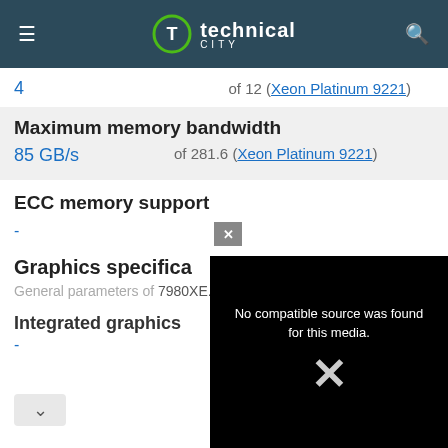technical CITY
4
of 12 (Xeon Platinum 9221)
Maximum memory bandwidth
85 GB/s
of 281.6 (Xeon Platinum 9221)
ECC memory support
-
Graphics specifications
General parameters of 7980XE.
Integrated graphics
-
[Figure (screenshot): Video player showing 'No compatible source was found for this media.' with a large X icon on black background, with a close button]